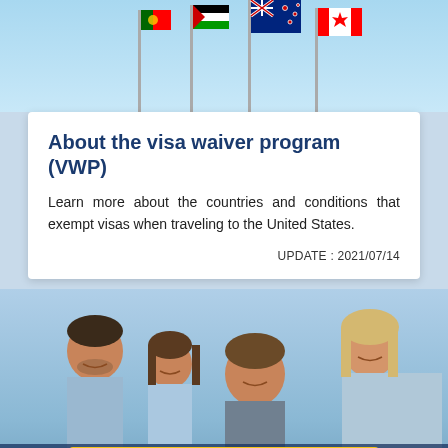[Figure (photo): Photo of multiple country flags on poles against a blue sky, including Portuguese, Palestinian, New Zealand, and Canadian flags]
About the visa waiver program (VWP)
Learn more about the countries and conditions that exempt visas when traveling to the United States.
UPDATE : 2021/07/14
[Figure (photo): Photo of a smiling family (man, two children, woman) looking at something together, possibly a laptop]
Apply for ESTA here >
Group application/family